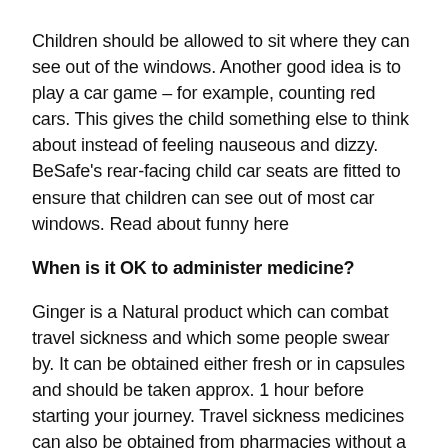Children should be allowed to sit where they can see out of the windows. Another good idea is to play a car game – for example, counting red cars. This gives the child something else to think about instead of feeling nauseous and dizzy. BeSafe's rear-facing child car seats are fitted to ensure that children can see out of most car windows. Read about funny here
When is it OK to administer medicine?
Ginger is a Natural product which can combat travel sickness and which some people swear by. It can be obtained either fresh or in capsules and should be taken approx. 1 hour before starting your journey. Travel sickness medicines can also be obtained from pharmacies without a prescription. These have a preventative effect and work by stabilising the balance nerve in the ear. They need to be taken one or two hours prior to travelling. The side effects include